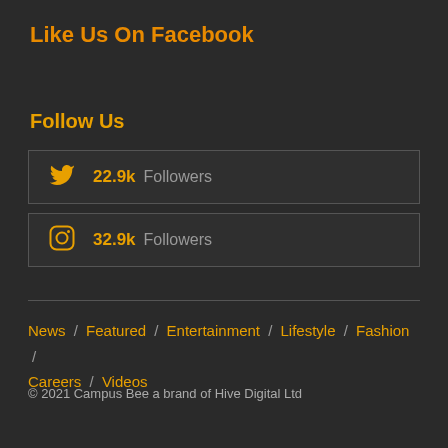Like Us On Facebook
Follow Us
22.9k Followers (Twitter)
32.9k Followers (Instagram)
News / Featured / Entertainment / Lifestyle / Fashion / Careers / Videos
© 2021 Campus Bee a brand of Hive Digital Ltd